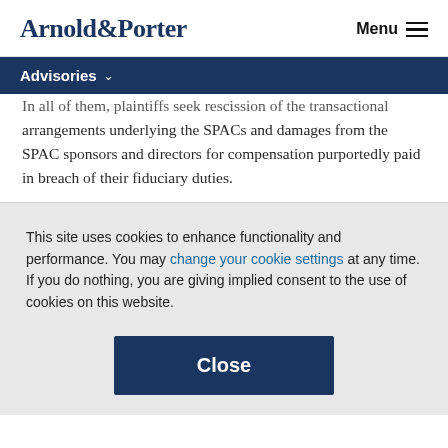Arnold & Porter  Menu
Advisories
In all of them, plaintiffs seek rescission of the transactional arrangements underlying the SPACs and damages from the SPAC sponsors and directors for compensation purportedly paid in breach of their fiduciary duties.
This site uses cookies to enhance functionality and performance. You may change your cookie settings at any time. If you do nothing, you are giving implied consent to the use of cookies on this website.
Close